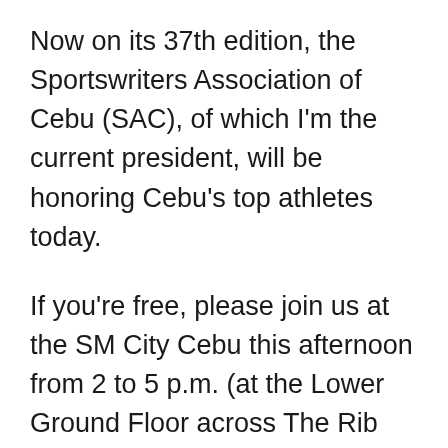Now on its 37th edition, the Sportswriters Association of Cebu (SAC), of which I'm the current president, will be honoring Cebu's top athletes today.
If you're free, please join us at the SM City Cebu this afternoon from 2 to 5 p.m. (at the Lower Ground Floor across The Rib Shack restaurant).
Mary Joy Tabal will lead the invocation. The PADS (Philippine Accessible Disability Service) Dragonboat Team will kick off the